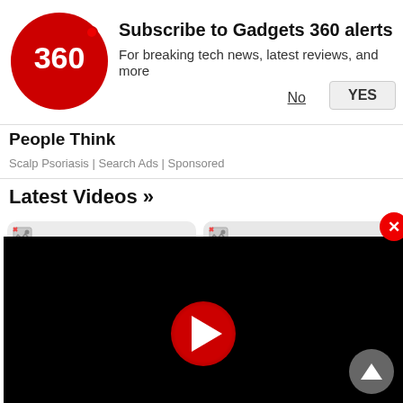[Figure (logo): Gadgets 360 red circle logo with '360' text in white]
Subscribe to Gadgets 360 alerts
For breaking tech news, latest reviews, and more
No
YES
People Think
Scalp Psoriasis | Search Ads | Sponsored
Latest Videos »
[Figure (screenshot): Video thumbnail placeholder with broken image icon, duration badge showing play icon and 05:37]
Does Vivo Have a Winner With the V25 Pro?
[Figure (screenshot): Video thumbnail placeholder with broken image icon, duration badge showing play icon and 21:3..., overlaid with video player showing large red play button on black background, close X button in top right]
Best Camera Phone Under Rs. 40,000 and Interview With Cornin...